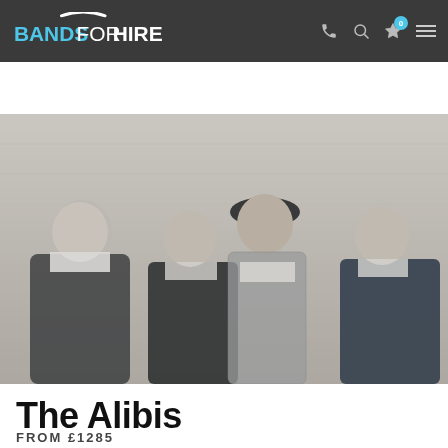BANDS FOR HIRE
[Figure (screenshot): Navigation bar with Bands For Hire logo, phone icon, search icon, star icon with badge showing 0, and hamburger menu]
[Figure (screenshot): Search bar with Category dropdown, Location dropdown, and cyan search button]
[Figure (photo): Four men posing against a brick wall — The Alibis band photo]
The Alibis
FROM £1285